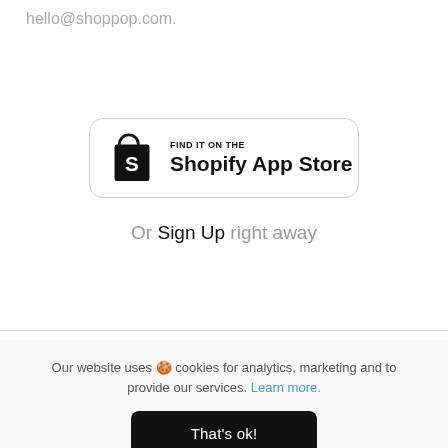hello@shoppop.com.
[Figure (logo): Shopify App Store badge with shopping bag icon and text 'FIND IT ON THE Shopify App Store']
Or Sign Up right away
Our website uses 🍪 cookies for analytics, marketing and to provide our services. Learn more.
That's ok!